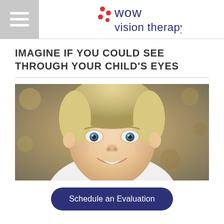wow vision therapy (logo with hamburger menu)
IMAGINE IF YOU COULD SEE THROUGH YOUR CHILD'S EYES
[Figure (photo): Close-up portrait of a smiling young blonde boy with blue eyes wearing a white shirt, with a blurred outdoor background]
Schedule an Evaluation